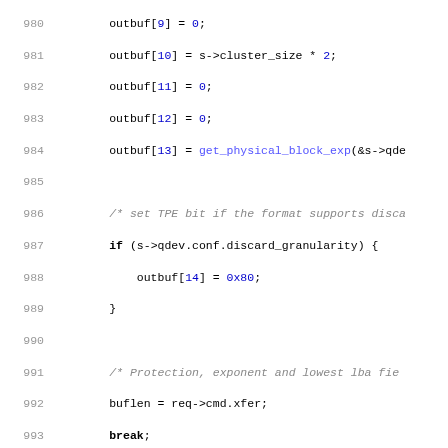Source code listing lines 980-1011, C code for SCSI/block device emulation